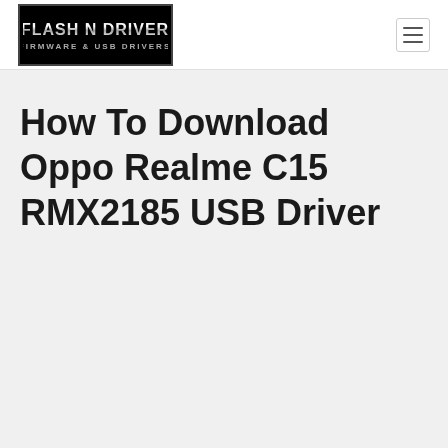[Figure (logo): Flash N Driver logo — black background with metallic chrome-style text reading FLASH N DRIVER]
How To Download Oppo Realme C15 RMX2185 USB Driver